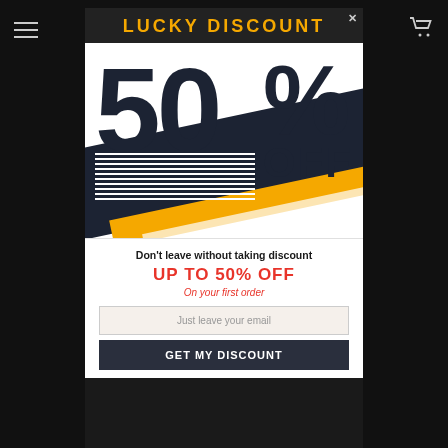LUCKY DISCOUNT (navigation bar with hamburger menu and cart icon)
[Figure (infographic): Large promotional graphic showing '50% OFF' in bold dark block letters with an orange diagonal stripe and dark diagonal band on white background]
Don't leave without taking discount
UP TO 50% OFF
On your first order
Just leave your email
GET MY DISCOUNT